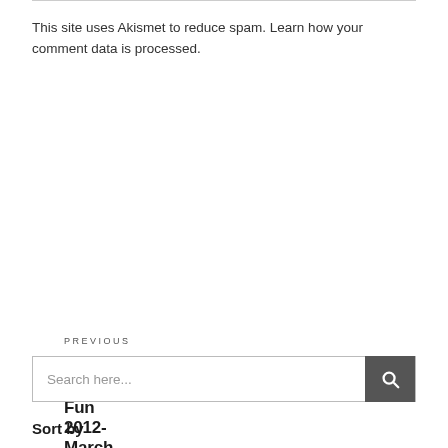This site uses Akismet to reduce spam. Learn how your comment data is processed.
PREVIOUS
← Sun N Fun 2012-March 27 to April 1
NEXT
Mechanical Fuel Injection Testing →
Search here...
Sort by